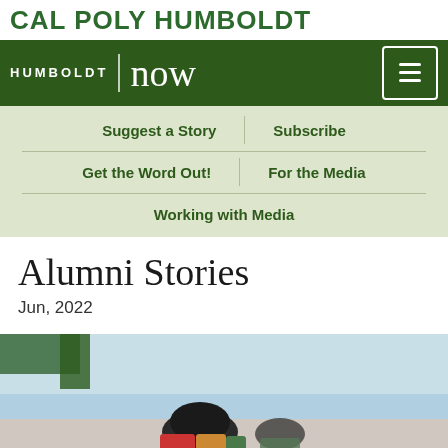CAL POLY HUMBOLDT
HUMBOLDT now
Suggest a Story
Subscribe
Get the Word Out!
For the Media
Working with Media
Alumni Stories
Jun, 2022
[Figure (photo): A person wearing a dark beanie hat and colorful jacket outdoors, partially visible at the bottom of the image with a sky background and green tent or structure in the background.]